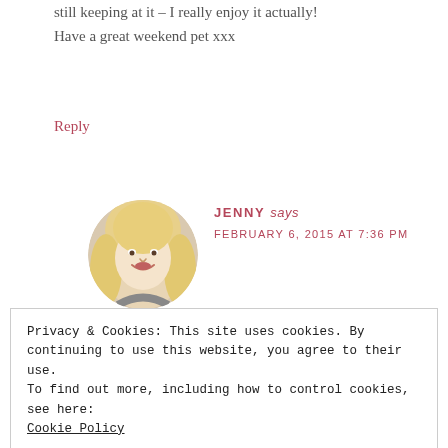still keeping at it – I really enjoy it actually!
Have a great weekend pet xxx
Reply
[Figure (photo): Circular avatar photo of a smiling blonde woman named Jenny]
JENNY says
FEBRUARY 6, 2015 AT 7:36 PM
Privacy & Cookies: This site uses cookies. By continuing to use this website, you agree to their use.
To find out more, including how to control cookies, see here:
Cookie Policy
Close and accept